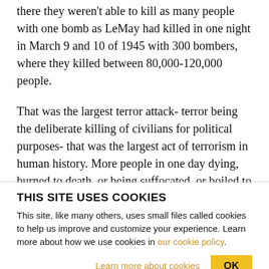there they weren't able to kill as many people with one bomb as LeMay had killed in one night in March 9 and 10 of 1945 with 300 bombers, where they killed between 80,000-120,000 people.
That was the largest terror attack- terror being the deliberate killing of civilians for political purposes- that was the largest act of terrorism in human history. More people in one day dying, burned to death, or being suffocated, or boiled to death in canals that were boiling, where they sought shelter
THIS SITE USES COOKIES
This site, like many others, uses small files called cookies to help us improve and customize your experience. Learn more about how we use cookies in our cookie policy.
Learn more about cookies